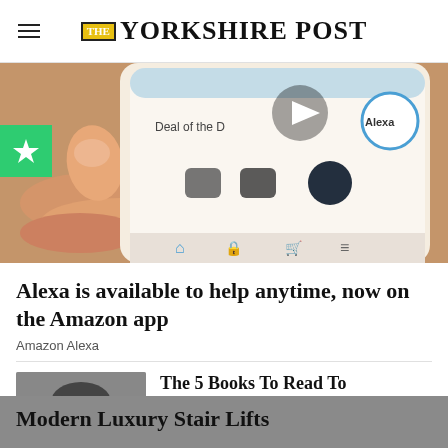THE YORKSHIRE POST
[Figure (photo): A hand holding a smartphone showing the Amazon app with Alexa visible on screen. The phone has a brown/tan case. 'Deal of the D...' text visible on screen along with Alexa logo.]
Alexa is available to help anytime, now on the Amazon app
Amazon Alexa
[Figure (photo): Black and white portrait photo of a young man with long hair wearing round glasses.]
The 5 Books To Read To Transform Your Life in 2022
Blinkist
Modern Luxury Stair Lifts